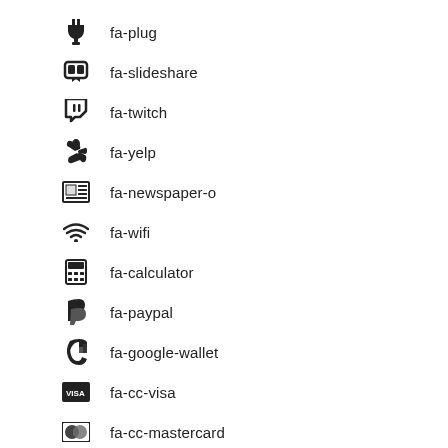fa-plug
fa-slideshare
fa-twitch
fa-yelp
fa-newspaper-o
fa-wifi
fa-calculator
fa-paypal
fa-google-wallet
fa-cc-visa
fa-cc-mastercard
fa-cc-discover
fa-cc-amex